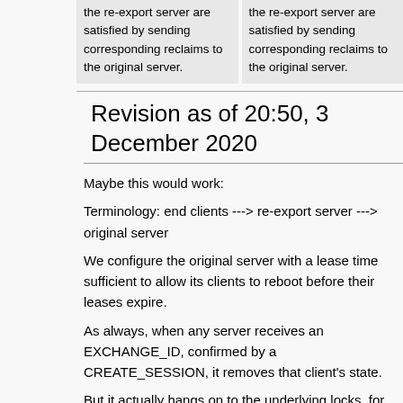| the re-export server are satisfied by sending corresponding reclaims to the original server. | the re-export server are satisfied by sending corresponding reclaims to the original server. |
Revision as of 20:50, 3 December 2020
Maybe this would work:
Terminology: end clients ---> re-export server ---> original server
We configure the original server with a lease time sufficient to allow its clients to reboot before their leases expire.
As always, when any server receives an EXCHANGE_ID, confirmed by a CREATE_SESSION, it removes that client's state.
But it actually hangs on to the underlying locks, for either another lease period or until the client sends RECLAIM_COMPLETE.
During that time, it won't honor the old stateids, but it will accept reclaims from the client as